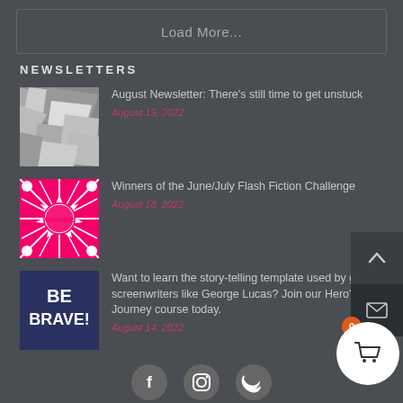Load More...
NEWSLETTERS
[Figure (photo): Black and white photo of crumpled paper pieces]
August Newsletter: There's still time to get unstuck
August 19, 2022
[Figure (illustration): Pink comic-style 'WINNER' burst graphic with radiating lines]
Winners of the June/July Flash Fiction Challenge
August 18, 2022
[Figure (illustration): Dark blue background with text 'BE BRAVE!' in white block letters]
Want to learn the story-telling template used by great screenwriters like George Lucas? Join our Hero's Journey course today.
August 14, 2022